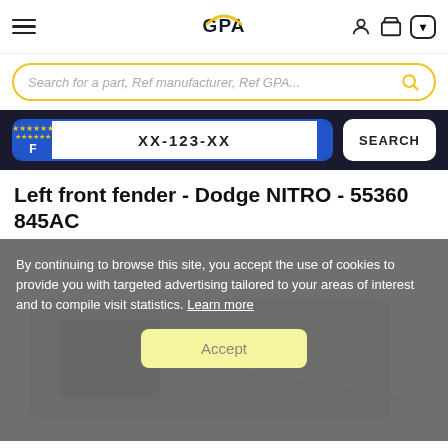GPA — navigation header with hamburger menu, GPA logo, user icon, cart icon, language selector
Search for a part, Ref manufacturer, Ref GPA...
XX-123-XX — license plate search bar with SEARCH button
Left front fender - Dodge NITRO - 55360 845AC
[Figure (photo): Product photo of a left front fender for Dodge NITRO, partially visible under a cookie consent overlay]
By continuing to browse this site, you accept the use of cookies to provide you with targeted advertising tailored to your areas of interest and to compile visit statistics. Learn more
Accept